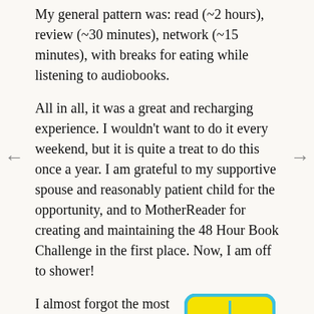My general pattern was: read (~2 hours), review (~30 minutes), network (~15 minutes), with breaks for eating while listening to audiobooks.
All in all, it was a great and recharging experience. I wouldn't want to do it every weekend, but it is quite a treat to do this once a year. I am grateful to my supportive spouse and reasonably patient child for the opportunity, and to MotherReader for creating and maintaining the 48 Hour Book Challenge in the first place. Now, I am off to shower!
I almost forgot the most important part. I had decided to donate $5 to RIF for every hour that I spent on the
[Figure (logo): RIF (Reading Is Fundamental) logo: a yellow/cyan open book shape with 'RIF' text in cyan letters, rounded rectangular border, with 'Reading Is' text below in cyan]
Reading Is